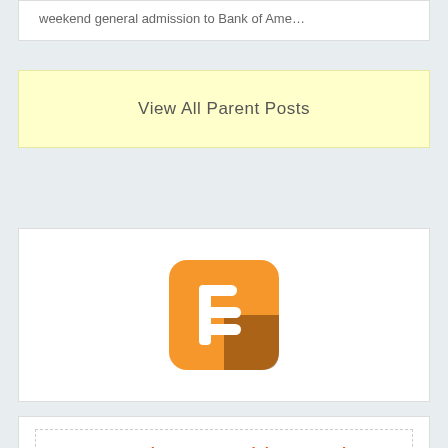weekend general admission to Bank of Ame…
View All Parent Posts
[Figure (logo): Blogger app icon logo: orange rounded square with white 'B' letter and dark brown shadow]
Screen Time: How Much is Too Much?
Posted: Oct 23rd, 2020